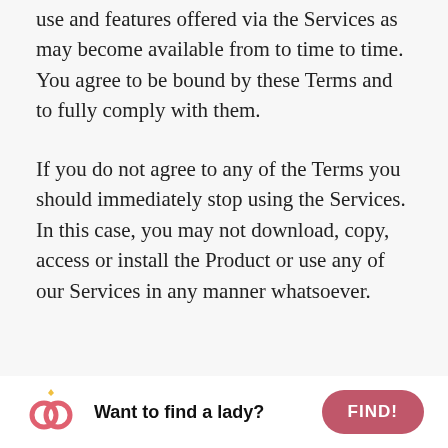use and features offered via the Services as may become available from to time to time. You agree to be bound by these Terms and to fully comply with them.
If you do not agree to any of the Terms you should immediately stop using the Services. In this case, you may not download, copy, access or install the Product or use any of our Services in any manner whatsoever.
THE PRODUCT AND SERVICES
[Figure (illustration): Advertisement bar with two interlocked rings logo (pink/rose colored with a small diamond on top), bold text 'Want to find a lady?' and a pink rounded button labeled 'FIND!']